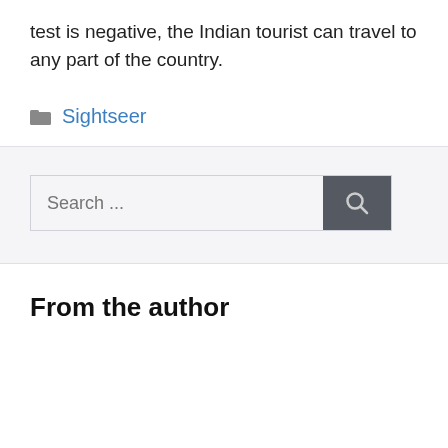test is negative, the Indian tourist can travel to any part of the country.
Sightseer
Search ...
From the author